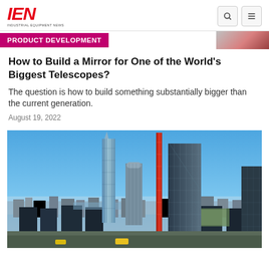IEN — INDUSTRIAL EQUIPMENT NEWS
PRODUCT DEVELOPMENT
How to Build a Mirror for One of the World's Biggest Telescopes?
The question is how to build something substantially bigger than the current generation.
August 19, 2022
[Figure (photo): Aerial photo of New York City skyline featuring tall skyscrapers including One Vanderbilt and other Billionaires' Row buildings against a clear blue sky with Central Park visible in the background.]